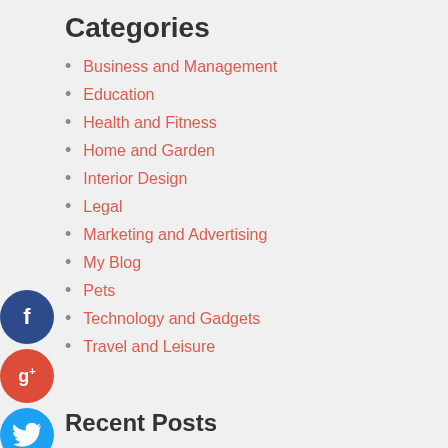Categories
Business and Management
Education
Health and Fitness
Home and Garden
Interior Design
Legal
Marketing and Advertising
My Blog
Pets
Technology and Gadgets
Travel and Leisure
Recent Posts
How Do NFTs Work On Project?